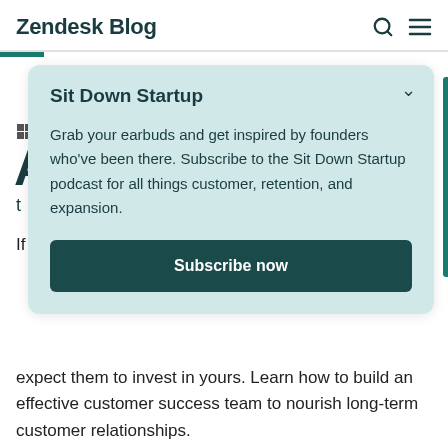Zendesk Blog
Sit Down Startup
Grab your earbuds and get inspired by founders who've been there. Subscribe to the Sit Down Startup podcast for all things customer, retention, and expansion.
Subscribe now
expect them to invest in yours. Learn how to build an effective customer success team to nourish long-term customer relationships.